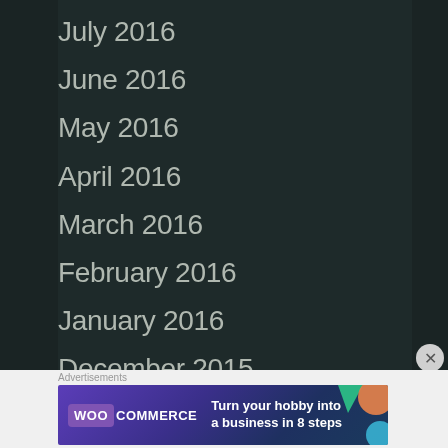July 2016
June 2016
May 2016
April 2016
March 2016
February 2016
January 2016
December 2015
Advertisements
[Figure (screenshot): WooCommerce advertisement banner: Turn your hobby into a business in 8 steps]